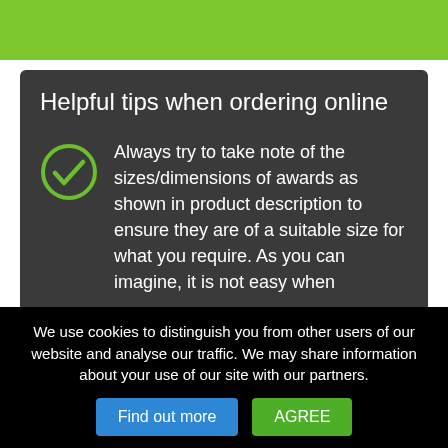[Figure (other): Green horizontal banner bar at top of page]
Helpful tips when ordering online
Always try to take note of the sizes/dimensions of awards as shown in product description to ensure they are of a suitable size for what you require. As you can imagine, it is not easy when
We use cookies to distinguish you from other users of our website and analyse our traffic. We may share information about your use of our site with our partners.
Find out more   AGREE